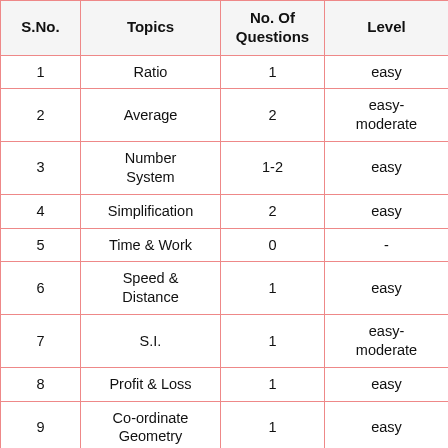| S.No. | Topics | No. Of Questions | Level |
| --- | --- | --- | --- |
| 1 | Ratio | 1 | easy |
| 2 | Average | 2 | easy-moderate |
| 3 | Number System | 1-2 | easy |
| 4 | Simplification | 2 | easy |
| 5 | Time & Work | 0 | - |
| 6 | Speed & Distance | 1 | easy |
| 7 | S.I. | 1 | easy-moderate |
| 8 | Profit & Loss | 1 | easy |
| 9 | Co-ordinate Geometry | 1 | easy |
| 10 | Geometry | 2 | easy-moderate |
| 11 | Mensuration | 2 | easy |